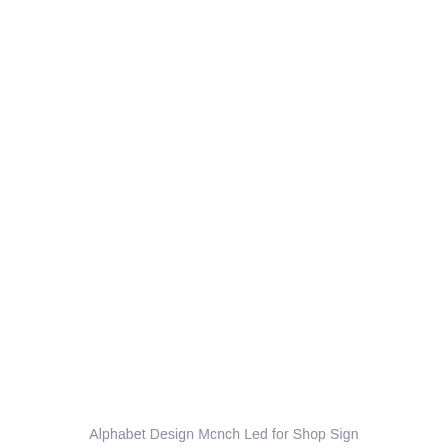Alphabet Design Mcnch Led for Shop Sign